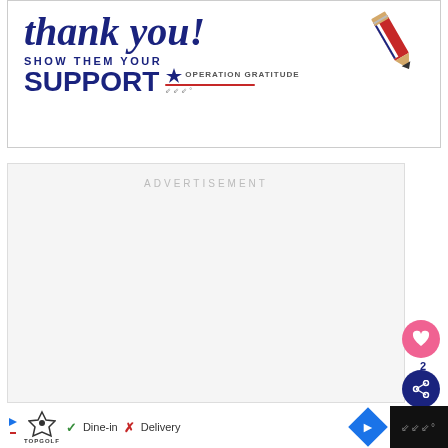[Figure (illustration): Operation Gratitude promotional image with 'thank you!' in script handwriting, a patriotic pencil illustration, text 'SHOW THEM YOUR SUPPORT' in bold navy, and Operation Gratitude logo with red, white and blue star design.]
ADVERTISEMENT
[Figure (screenshot): Bottom browser bar showing Topgolf advertisement with Dine-in checkmark and Delivery X icons, navigation arrow, and website logo.]